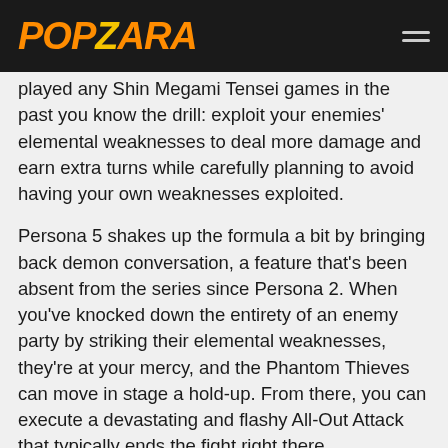POPZARA
played any Shin Megami Tensei games in the past you know the drill: exploit your enemies' elemental weaknesses to deal more damage and earn extra turns while carefully planning to avoid having your own weaknesses exploited.
Persona 5 shakes up the formula a bit by bringing back demon conversation, a feature that's been absent from the series since Persona 2. When you've knocked down the entirety of an enemy party by striking their elemental weaknesses, they're at your mercy, and the Phantom Thieves can move in stage a hold-up. From there, you can execute a devastating and flashy All-Out Attack that typically ends the fight right there.